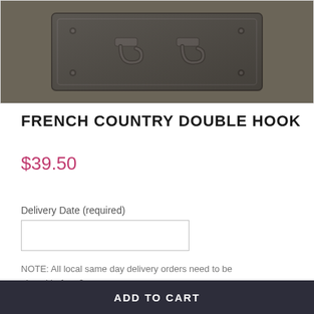[Figure (photo): French Country Double Hook product photo — a dark bronze/pewter rectangular hook plate with two hinged hooks, photographed against a white background with a border.]
FRENCH COUNTRY DOUBLE HOOK
$39.50
Delivery Date (required)
NOTE: All local same day delivery orders need to be placed before 2pm.
ADD TO CART